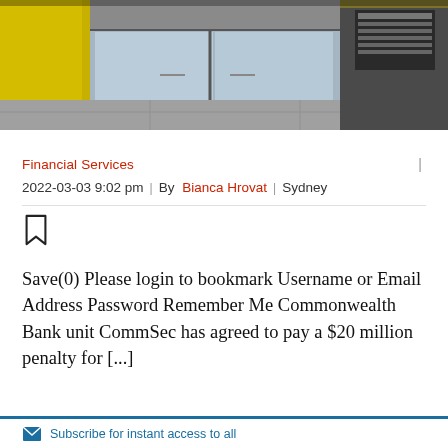[Figure (photo): Exterior photo of a building entrance with yellow panels and glass doors, concrete flooring visible]
Financial Services | 2022-03-03 9:02 pm | By Bianca Hrovat | Sydney
Save(0) Please login to bookmark Username or Email Address Password Remember Me Commonwealth Bank unit CommSec has agreed to pay a $20 million penalty for [...]
Subscribe for instant access to all